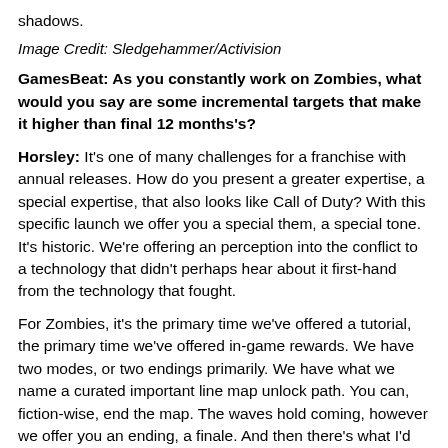shadows.
Image Credit: Sledgehammer/Activision
GamesBeat: As you constantly work on Zombies, what would you say are some incremental targets that make it higher than final 12 months's?
Horsley: It's one of many challenges for a franchise with annual releases. How do you present a greater expertise, a special expertise, that also looks like Call of Duty? With this specific launch we offer you a special them, a special tone. It's historic. We're offering an perception into the conflict to a technology that didn't perhaps hear about it first-hand from the technology that fought.
For Zombies, it's the primary time we've offered a tutorial, the primary time we've offered in-game rewards. We have two modes, or two endings primarily. We have what we name a curated important line map unlock path. You can, fiction-wise, end the map. The waves hold coming, however we offer you an ending, a finale. And then there's what I'd name a hidden or hardcore path. That has a separate ending.